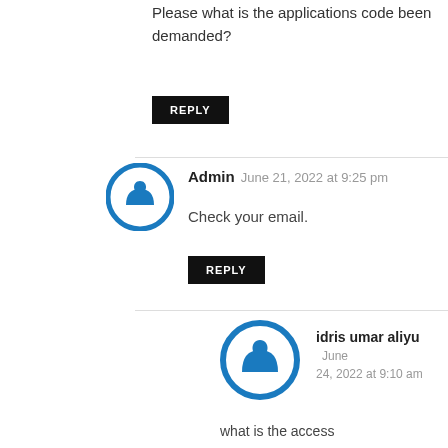Please what is the applications code been demanded?
REPLY
Admin   June 21, 2022 at 9:25 pm
Check your email.
REPLY
idris umar aliyu   June 24, 2022 at 9:10 am
what is the access